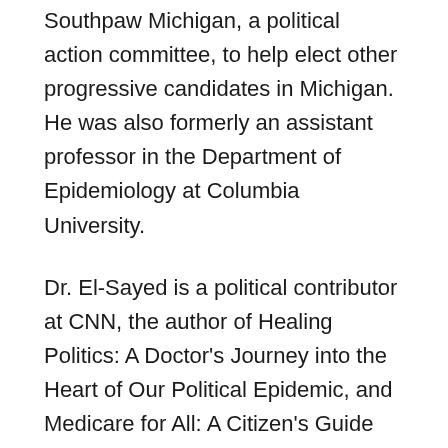Southpaw Michigan, a political action committee, to help elect other progressive candidates in Michigan. He was also formerly an assistant professor in the Department of Epidemiology at Columbia University.
Dr. El-Sayed is a political contributor at CNN, the author of Healing Politics: A Doctor's Journey into the Heart of Our Political Epidemic, and Medicare for All: A Citizen's Guide (co-authored with Micah Johnson), and the host of America Dissected with Dr. Abdul El-Sayed, a podcast about politics and public health. In 2020, he served on the Biden-Sanders Unity Task Force on health care. Dr. El-Sayed received his undergraduate degrees in biology and political science from the University of Michigan, and his MD degree from Columbia University. He was a Rhodes Scholar at